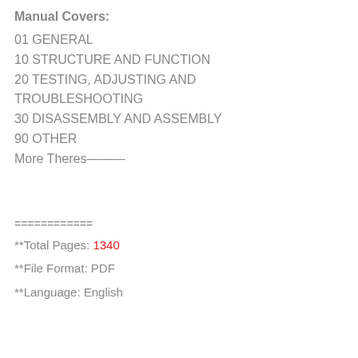Manual Covers:
01 GENERAL
10 STRUCTURE AND FUNCTION
20 TESTING, ADJUSTING AND TROUBLESHOOTING
30 DISASSEMBLY AND ASSEMBLY
90 OTHER
More Theres———
============
**Total Pages: 1340
**File Format: PDF
**Language: English